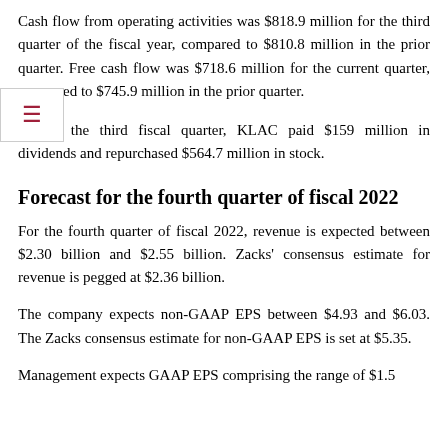Cash flow from operating activities was $818.9 million for the third quarter of the fiscal year, compared to $810.8 million in the prior quarter. Free cash flow was $718.6 million for the current quarter, compared to $745.9 million in the prior quarter.
During the third fiscal quarter, KLAC paid $159 million in dividends and repurchased $564.7 million in stock.
Forecast for the fourth quarter of fiscal 2022
For the fourth quarter of fiscal 2022, revenue is expected between $2.30 billion and $2.55 billion. Zacks' consensus estimate for revenue is pegged at $2.36 billion.
The company expects non-GAAP EPS between $4.93 and $6.03. The Zacks consensus estimate for non-GAAP EPS is set at $5.35.
Management expects GAAP EPS comprising the range of $1.5...